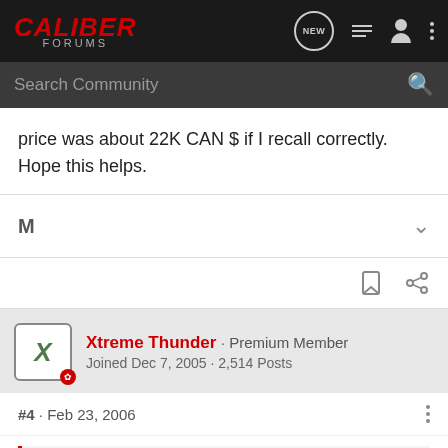CALIBER FORUMS
price was about 22K CAN $ if I recall correctly. Hope this helps.
M
Xtreme Thunder · Premium Member
Joined Dec 7, 2005 · 2,514 Posts
#4 · Feb 23, 2006
WICKED JESTER said:
I had my wife go to the dealer today to ask some questions on when